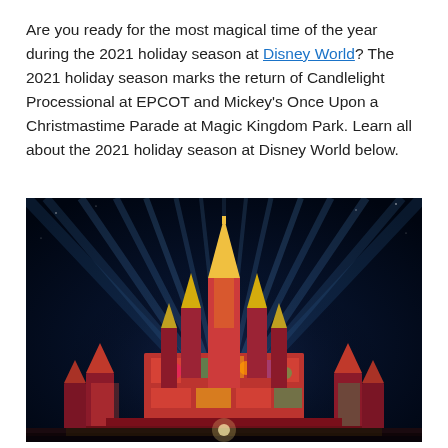Are you ready for the most magical time of the year during the 2021 holiday season at Disney World? The 2021 holiday season marks the return of Candlelight Processional at EPCOT and Mickey's Once Upon a Christmastime Parade at Magic Kingdom Park. Learn all about the 2021 holiday season at Disney World below.
[Figure (photo): Night photo of Cinderella Castle at Magic Kingdom Park decorated with colorful holiday projections in red, green, yellow, and pink, with dramatic blue spotlights fanning out into the dark night sky.]